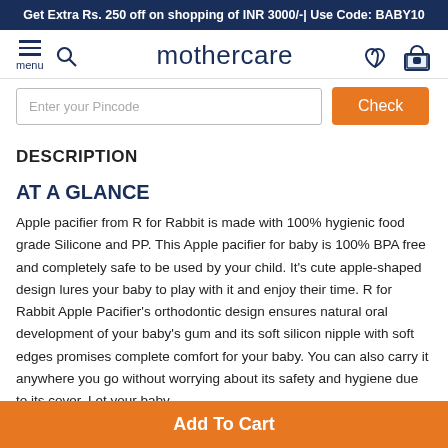Get Extra Rs. 250 off on shopping of INR 3000/-| Use Code: BABY10
[Figure (screenshot): Mothercare navigation bar with hamburger menu, search icon, mothercare brand logo, heart/wishlist icon, and shopping basket icon]
Enter your Pincode
DESCRIPTION
AT A GLANCE
Apple pacifier from R for Rabbit is made with 100% hygienic food grade Silicone and PP. This Apple pacifier for baby is 100% BPA free and completely safe to be used by your child. It's cute apple-shaped design lures your baby to play with it and enjoy their time. R for Rabbit Apple Pacifier's orthodontic design ensures natural oral development of your baby's gum and its soft silicon nipple with soft edges promises complete comfort for your baby. You can also carry it anywhere you go without worrying about its safety and hygiene due to its cover. Let your baby
Add To Cart